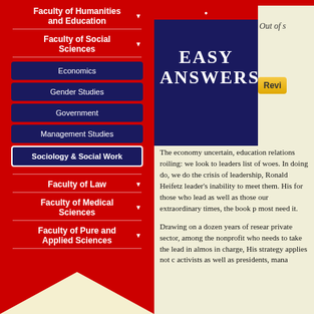Faculty of Humanities and Education
Faculty of Social Sciences
Economics
Gender Studies
Government
Management Studies
Sociology & Social Work
Faculty of Law
Faculty of Medical Sciences
Faculty of Pure and Applied Sciences
[Figure (photo): Book cover showing 'EASY ANSWERS' text on dark navy background with red diagonal banner]
Out of s
The economy uncertain, education relations roiling: we look to leadership list of woes. In doing do, we do the crisis of leadership, Ronald Heifetz leader's inability to meet them. His for those who lead as well as those our extraordinary times, the book p most need it.
Drawing on a dozen years of resear private sector, among the nonprofit who needs to take the lead in almos in charge, His strategy applies not c activists as well as presidents, mana